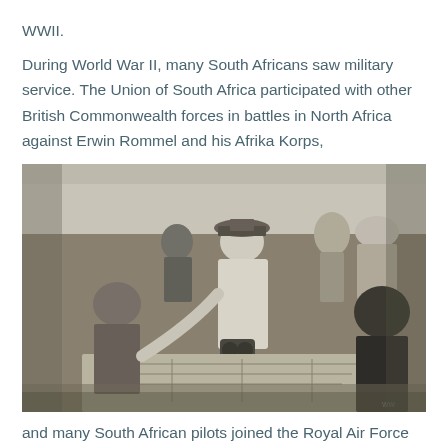WWII.
During World War II, many South Africans saw military service. The Union of South Africa participated with other British Commonwealth forces in battles in North Africa against Erwin Rommel and his Afrika Korps,
[Figure (photo): Black and white WWII photograph showing military officers, including one in a German officer uniform with peaked cap, gathered around a table with maps, studying plans in a desert setting. Multiple soldiers visible in the background.]
and many South African pilots joined the Royal Air Force and fought against the Axis powers in the European